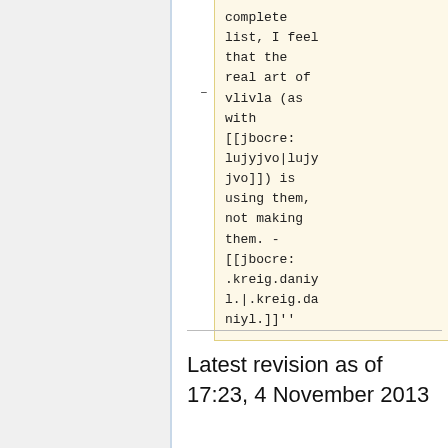complete list, I feel that the real art of vlivla (as with [[jbocre:lujyjvo|lujyjvo]]) is using them, not making them. - [[jbocre:.kreig.daniyl.|.kreig.daniyl.]]''
Latest revision as of 17:23, 4 November 2013